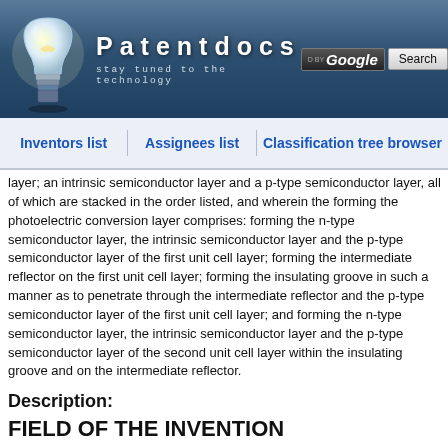Patentdocs — stay tuned to the technology
Inventors list | Assignees list | Classification tree browser
layer; an intrinsic semiconductor layer and a p-type semiconductor layer, all of which are stacked in the order listed, and wherein the forming the photoelectric conversion layer comprises: forming the n-type semiconductor layer, the intrinsic semiconductor layer and the p-type semiconductor layer of the first unit cell layer; forming the intermediate reflector on the first unit cell layer; forming the insulating groove in such a manner as to penetrate through the intermediate reflector and the p-type semiconductor layer of the first unit cell layer; and forming the n-type semiconductor layer, the intrinsic semiconductor layer and the p-type semiconductor layer of the second unit cell layer within the insulating groove and on the intermediate reflector.
Description:
FIELD OF THE INVENTION
[0001] The present invention relates to a tandem